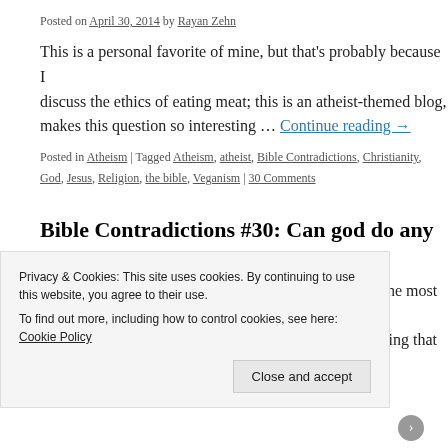Posted on April 30, 2014 by Rayan Zehn
This is a personal favorite of mine, but that’s probably because I discuss the ethics of eating meat; this is an atheist-themed blog, makes this question so interesting … Continue reading →
Posted in Atheism | Tagged Atheism, atheist, Bible Contradictions, Christianity, God, Jesus, Religion, the bible, Veganism | 30 Comments
Bible Contradictions #30: Can god do any…
Posted on April 25, 2014 by Rayan Zehn
The god that revealed himself to Abraham is literally the most c… followers will tell you. He’s been constructed into a being that k…
Privacy & Cookies: This site uses cookies. By continuing to use this website, you agree to their use.
To find out more, including how to control cookies, see here: Cookie Policy